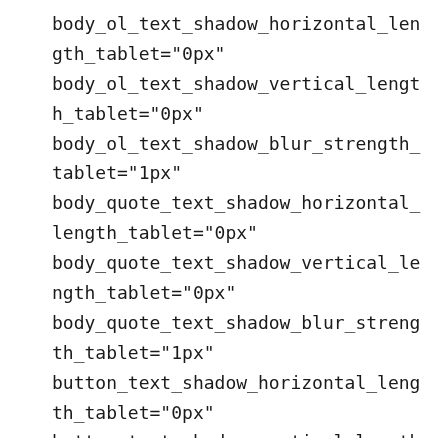body_ol_text_shadow_horizontal_length_tablet="0px"
body_ol_text_shadow_vertical_length_tablet="0px"
body_ol_text_shadow_blur_strength_tablet="1px"
body_quote_text_shadow_horizontal_length_tablet="0px"
body_quote_text_shadow_vertical_length_tablet="0px"
body_quote_text_shadow_blur_strength_tablet="1px"
button_text_shadow_horizontal_length_tablet="0px"
button_text_shadow_vertical_length_tablet="0px"